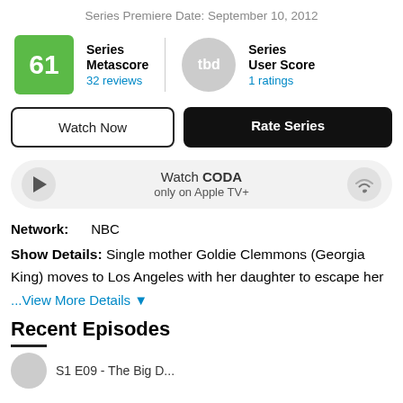Series Premiere Date: September 10, 2012
Series Metascore
32 reviews
[Score: 61]
Series User Score
1 ratings
[Score: tbd]
Watch Now | Rate Series
Watch CODA
only on Apple TV+
Network: NBC
Show Details: Single mother Goldie Clemmons (Georgia King) moves to Los Angeles with her daughter to escape her
...View More Details
Recent Episodes
S1 E09 - The Big D...